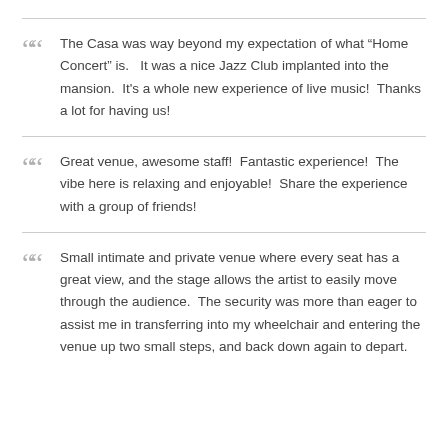The Casa was way beyond my expectation of what “Home Concert” is.   It was a nice Jazz Club implanted into the mansion.  It’s a whole new experience of live music!  Thanks a lot for having us!
Great venue, awesome staff!  Fantastic experience!  The vibe here is relaxing and enjoyable!  Share the experience with a group of friends!
Small intimate and private venue where every seat has a great view, and the stage allows the artist to easily move through the audience.  The security was more than eager to assist me in transferring into my wheelchair and entering the venue up two small steps, and back down again to depart.